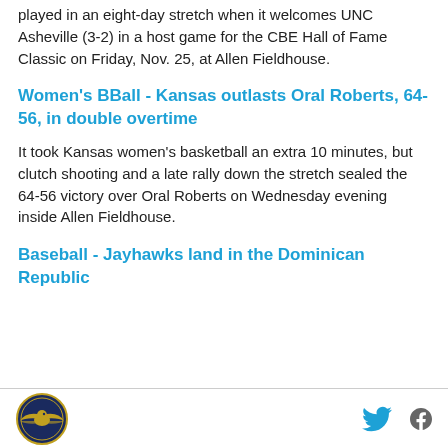played in an eight-day stretch when it welcomes UNC Asheville (3-2) in a host game for the CBE Hall of Fame Classic on Friday, Nov. 25, at Allen Fieldhouse.
Women's BBall - Kansas outlasts Oral Roberts, 64-56, in double overtime
It took Kansas women's basketball an extra 10 minutes, but clutch shooting and a late rally down the stretch sealed the 64-56 victory over Oral Roberts on Wednesday evening inside Allen Fieldhouse.
Baseball - Jayhawks land in the Dominican Republic